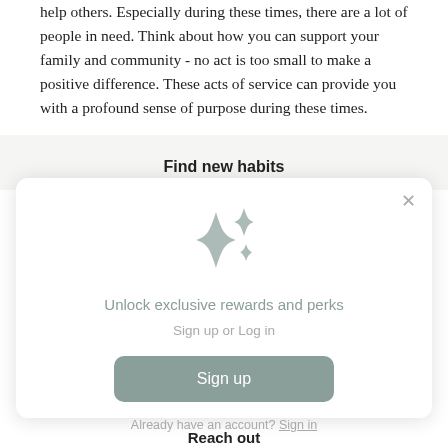help others. Especially during these times, there are a lot of people in need. Think about how you can support your family and community - no act is too small to make a positive difference. These acts of service can provide you with a profound sense of purpose during these times.
Find new habits
[Figure (screenshot): Modal popup with sparkle icon, text 'Unlock exclusive rewards and perks', 'Sign up or Log in', a green-gray Sign up button, and 'Already have an account? Sign in' link. An X close button is in the top right.]
Reach out